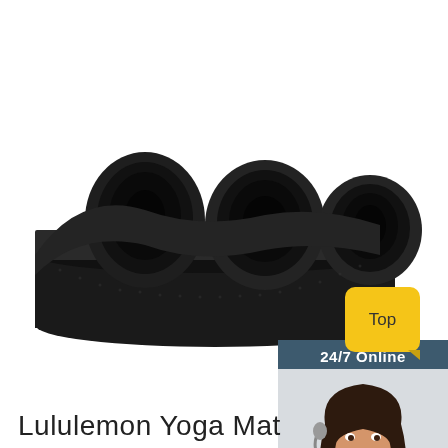[Figure (photo): A black rolled/folded yoga mat shown at an angle against white background, with three cylindrical rolls visible from the front]
[Figure (infographic): 24/7 Online customer service widget showing a smiling woman with headset, text 'Click here for free chat!', and an orange QUOTATION button]
[Figure (other): Yellow rounded rectangle 'Top' button with a small folded corner notch at bottom]
Lululemon Yoga Mat